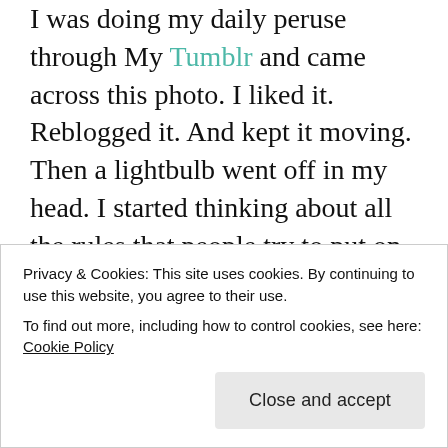I was doing my daily peruse through My Tumblr and came across this photo. I liked it. Reblogged it. And kept it moving. Then a lightbulb went off in my head. I started thinking about all the rules that people try to put on others when it comes to personal style. It's called PERSONAL style for a reason. It's yours, and what you do with it is your business. Anyway, one so called rule that annoys me is this not repeating outfits rule. The hell!? Most people must be ballin in these streets but for this full time student/employee/entrepreneur that's not an option.
Privacy & Cookies: This site uses cookies. By continuing to use this website, you agree to their use.
To find out more, including how to control cookies, see here: Cookie Policy